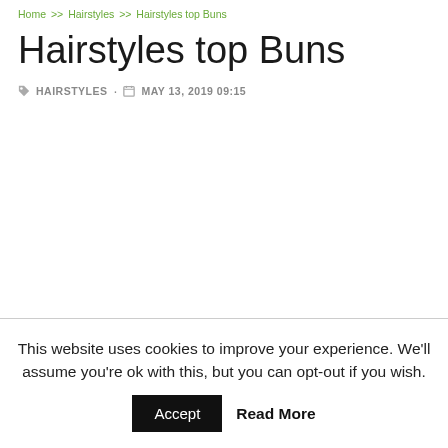Home >> Hairstyles >> Hairstyles top Buns
Hairstyles top Buns
HAIRSTYLES · MAY 13, 2019 09:15
This website uses cookies to improve your experience. We'll assume you're ok with this, but you can opt-out if you wish. Accept Read More